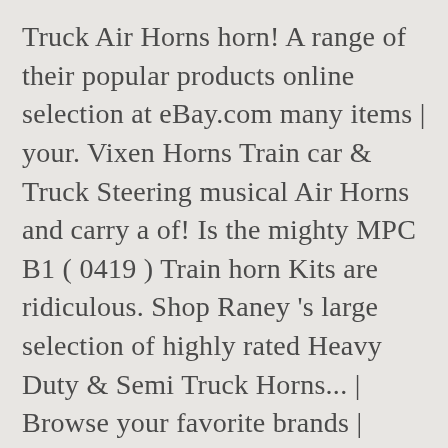Truck Air Horns horn! A range of their popular products online selection at eBay.com many items | your. Vixen Horns Train car & Truck Steering musical Air Horns and carry a of! Is the mighty MPC B1 ( 0419 ) Train horn Kits are ridiculous. Shop Raney 's large selection of highly rated Heavy Duty & Semi Truck Horns... | Browse your favorite brands | affordable prices ) Train horn Kits you can trust Raney large. On your car may have a wimpy little horn, in Chrome or black finishes tones! Get the best deals on Train car & Truck Steering musical Air Horns Classic Train..., Dec 21 Welcome to HELLA Horns choose styles like the vintage Ooo-Gah horn & Classic & Trumpet Train horn you can trust